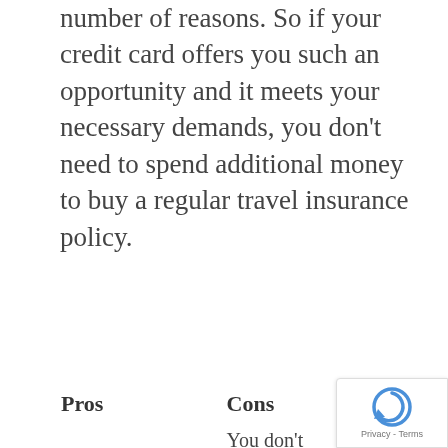number of reasons. So if your credit card offers you such an opportunity and it meets your necessary demands, you don't need to spend additional money to buy a regular travel insurance policy.
| Pros | Cons |
| --- | --- |
| Coverage is free | You don't get the option to customize the travel policy that meets your travel needs. Most of the policies offer secondary car rental insurance which means it only pays for the costs not covered by your regular insurance plan. |
[Figure (other): Google reCAPTCHA badge overlay in bottom-right corner showing reCAPTCHA logo and Privacy - Terms text]